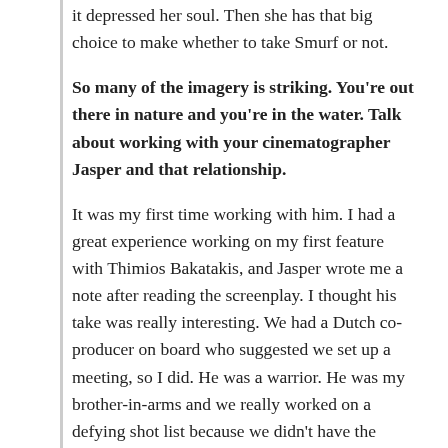it depressed her soul. Then she has that big choice to make whether to take Smurf or not.
So many of the imagery is striking. You're out there in nature and you're in the water. Talk about working with your cinematographer Jasper and that relationship.
It was my first time working with him. I had a great experience working on my first feature with Thimios Bakatakis, and Jasper wrote me a note after reading the screenplay. I thought his take was really interesting. We had a Dutch co-producer on board who suggested we set up a meeting, so I did. He was a warrior. He was my brother-in-arms and we really worked on a defying shot list because we didn't have the money to do a lot of time with the camera before shooting. We'd do intense visualization exercises to make sure that we both